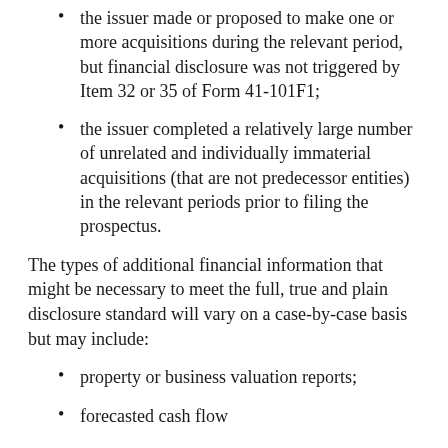the issuer made or proposed to make one or more acquisitions during the relevant period, but financial disclosure was not triggered by Item 32 or 35 of Form 41-101F1;
the issuer completed a relatively large number of unrelated and individually immaterial acquisitions (that are not predecessor entities) in the relevant periods prior to filing the prospectus.
The types of additional financial information that might be necessary to meet the full, true and plain disclosure standard will vary on a case-by-case basis but may include:
property or business valuation reports;
forecasted cash flow